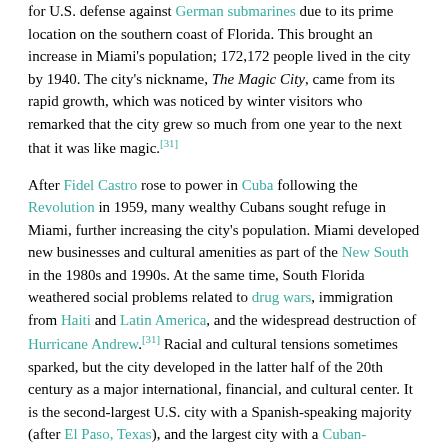for U.S. defense against German submarines due to its prime location on the southern coast of Florida. This brought an increase in Miami's population; 172,172 people lived in the city by 1940. The city's nickname, The Magic City, came from its rapid growth, which was noticed by winter visitors who remarked that the city grew so much from one year to the next that it was like magic.[31]
After Fidel Castro rose to power in Cuba following the Revolution in 1959, many wealthy Cubans sought refuge in Miami, further increasing the city's population. Miami developed new businesses and cultural amenities as part of the New South in the 1980s and 1990s. At the same time, South Florida weathered social problems related to drug wars, immigration from Haiti and Latin America, and the widespread destruction of Hurricane Andrew.[31] Racial and cultural tensions sometimes sparked, but the city developed in the latter half of the 20th century as a major international, financial, and cultural center. It is the second-largest U.S. city with a Spanish-speaking majority (after El Paso, Texas), and the largest city with a Cuban-American plurality.[18]
Geography
Miami and its suburbs are located on a broad plain between the